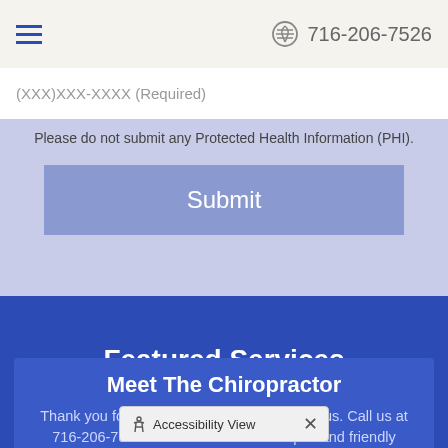716-206-7526
(XXX)XXX-XXXX (Required)
Please do not submit any Protected Health Information (PHI).
Submit
Featured Services
Click to Find Out More
Meet The Chiropractor
Thank you for taking the time to learn about us. Call us at 716-206-7526 to find out what our helpful and friendly Chiropractic Team
Accessibility View